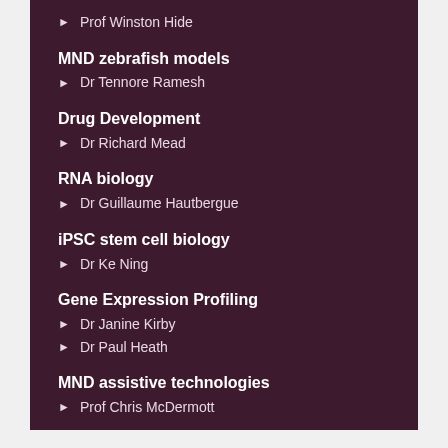Prof Winston Hide
MND zebrafish models
Dr Tennore Ramesh
Drug Development
Dr Richard Mead
RNA biology
Dr Guillaume Hautbergue
iPSC stem cell biology
Dr Ke Ning
Gene Expression Profiling
Dr Janine Kirby
Dr Paul Heath
MND assistive technologies
Prof Chris McDermott